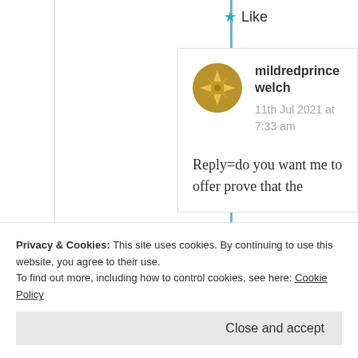★ Like
[Figure (illustration): Golden circular avatar icon with compass-rose/star pattern for user mildredprince welch]
mildredprince welch
11th Jul 2021 at 7:33 am
Reply=do you want me to offer prove that the
Privacy & Cookies: This site uses cookies. By continuing to use this website, you agree to their use. To find out more, including how to control cookies, see here: Cookie Policy
Close and accept